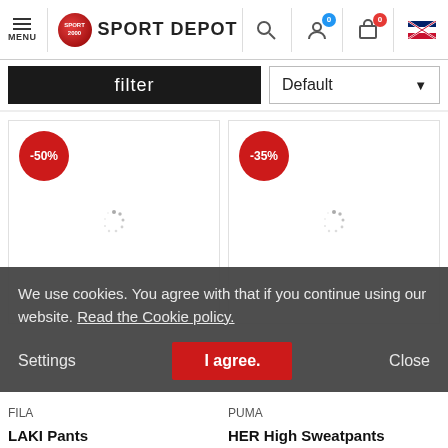SPORT DEPOT — navigation header with menu, logo, search, account (0), cart (0), language flag
filter
Default
[Figure (screenshot): Product card with -50% discount badge and loading spinner]
[Figure (screenshot): Product card with -35% discount badge and loading spinner]
We use cookies. You agree with that if you continue using our website. Read the Cookie policy.
Settings
I agree.
Close
FILA
PUMA
LAKI Pants
HER High Sweatpants